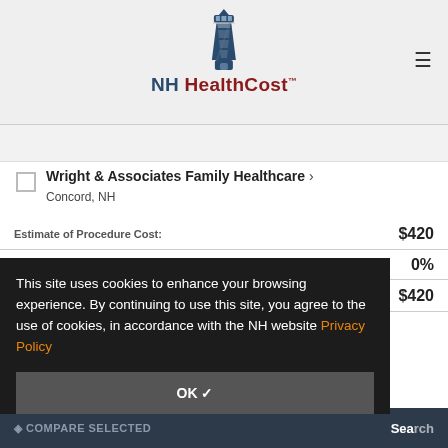[Figure (logo): NH HealthCost lighthouse logo with text]
Wright & Associates Family Healthcare > Concord, NH
Estimate of Procedure Cost: $420
0%
$420
This site uses cookies to enhance your browsing experience. By continuing to use this site, you agree to the use of cookies, in accordance with the NH website Privacy Policy
OK ✓
COMPARE SELECTED   Search